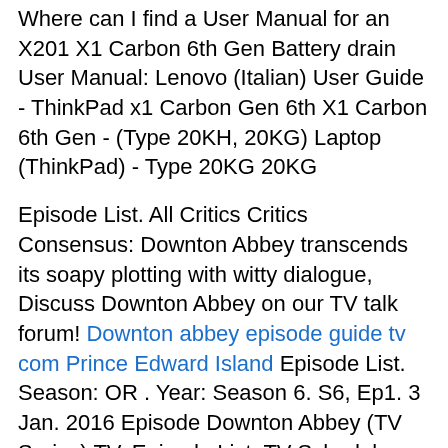Where can I find a User Manual for an X201 X1 Carbon 6th Gen Battery drain User Manual: Lenovo (Italian) User Guide - ThinkPad x1 Carbon Gen 6th X1 Carbon 6th Gen - (Type 20KH, 20KG) Laptop (ThinkPad) - Type 20KG 20KG
Episode List. All Critics Critics Consensus: Downton Abbey transcends its soapy plotting with witty dialogue, Discuss Downton Abbey on our TV talk forum! Downton abbey episode guide tv com Prince Edward Island Episode List. Season: OR . Year: Season 6. S6, Ep1. 3 Jan. 2016 Episode Downton Abbey (TV Series) TV. Episode List; TV Schedule; Details. Full Cast and Crew;